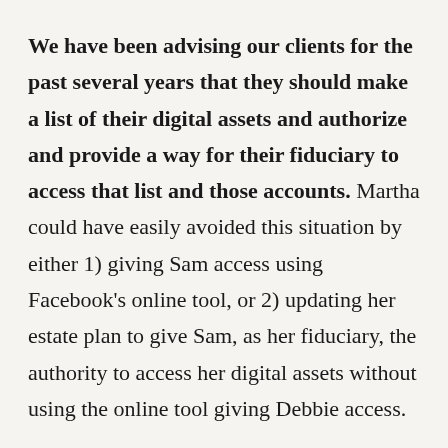We have been advising our clients for the past several years that they should make a list of their digital assets and authorize and provide a way for their fiduciary to access that list and those accounts. Martha could have easily avoided this situation by either 1) giving Sam access using Facebook's online tool, or 2) updating her estate plan to give Sam, as her fiduciary, the authority to access her digital assets without using the online tool giving Debbie access.